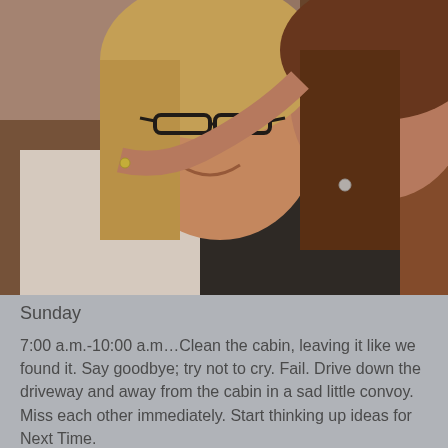[Figure (photo): Two women laughing and hugging each other. The woman on the left has blonde hair and black-rimmed glasses, wearing a white top. The woman on the right has brown hair and is wearing a black top, leaning in close and hugging the first woman. Both are smiling and laughing.]
Sunday
7:00 a.m.-10:00 a.m…Clean the cabin, leaving it like we found it. Say goodbye; try not to cry. Fail. Drive down the driveway and away from the cabin in a sad little convoy. Miss each other immediately. Start thinking up ideas for Next Time.